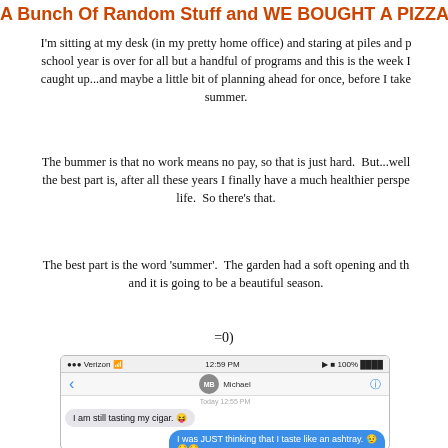A Bunch Of Random Stuff and WE BOUGHT A PIZZA OVE
I'm sitting at my desk (in my pretty home office) and staring at piles and p school year is over for all but a handful of programs and this is the week I caught up...and maybe a little bit of planning ahead for once, before I take summer.
The bummer is that no work means no pay, so that is just hard.  But...well the best part is, after all these years I finally have a much healthier perspe life.  So there's that.
The best part is the word 'summer'.  The garden had a soft opening and th and it is going to be a beautiful season.
=0)
[Figure (screenshot): iPhone text message screenshot showing a conversation with 'Michael' (MB). Status bar shows Verizon, 12:59 PM, 100% battery. Messages: received bubble 'I am still tasting my cigar. 😜', sent bubble 'I was JUST thinking that I taste like an ashtray. 😣😣😣', and a partial sent bubble below.]